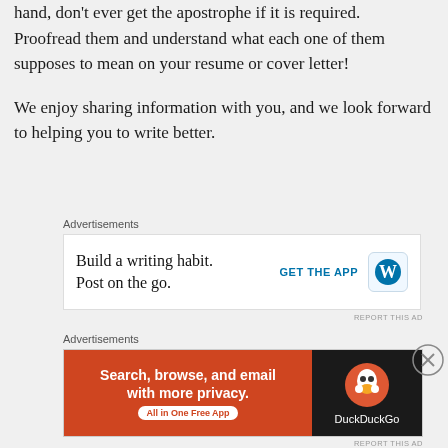hand, don't ever get the apostrophe if it is required. Proofread them and understand what each one of them supposes to mean on your resume or cover letter!
We enjoy sharing information with you, and we look forward to helping you to write better.
[Figure (screenshot): WordPress app advertisement: 'Build a writing habit. Post on the go.' with GET THE APP button and WordPress logo icon, and REPORT THIS AD link]
[Figure (screenshot): DuckDuckGo advertisement: 'Search, browse, and email with more privacy. All in One Free App' with orange background and DuckDuckGo logo on dark background, close button overlay]